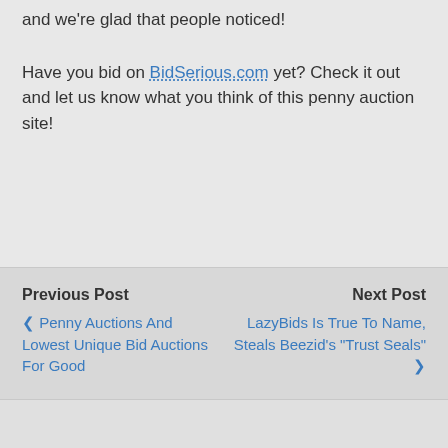and we're glad that people noticed!
Have you bid on BidSerious.com yet? Check it out and let us know what you think of this penny auction site!
Previous Post
❮ Penny Auctions And Lowest Unique Bid Auctions For Good
Next Post
LazyBids Is True To Name, Steals Beezid's "Trust Seals" ❯